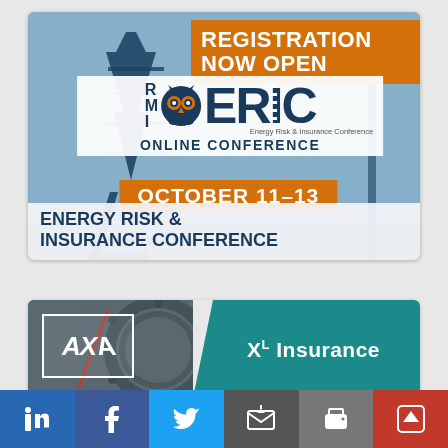[Figure (infographic): Energy Risk & Insurance Conference (ERIC) advertisement banner. Orange box top-right reads 'REGISTRATION NOW OPEN'. Center has RMI ERIC logo with owl graphic, 'ONLINE CONFERENCE', orange bar 'OCTOBER 11-13', and bottom white area reads 'ENERGY RISK & INSURANCE CONFERENCE'. Background shows oil rig silhouette in blue-gray tones.]
[Figure (infographic): Sponsor logos banner showing AXA logo on left with industrial machinery background, and XL Insurance logo on teal/green right panel.]
[Figure (infographic): Social media sharing bar at bottom with LinkedIn, Facebook, Twitter, Email, Print, and scroll-to-top buttons.]